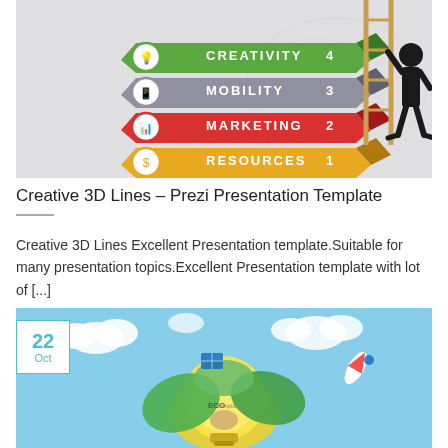[Figure (illustration): Infographic showing a 3D staircase/ladder with four labeled steps: RESOURCES (1, yellow/gold), MARKETING (2, red), MOBILITY (3, gray), CREATIVITY (4, green), with a silhouette of a person standing next to the ladder on a light gray background with a faint world map.]
Creative 3D Lines – Prezi Presentation Template
Creative 3D Lines Excellent Presentation template.Suitable for many presentation topics.Excellent Presentation template with lot of [...]
[Figure (illustration): Eco-themed illustration featuring a light bulb in the center surrounded by a green earth with renewable energy elements (solar panels, wind turbines, rockets, trees, clouds) on a light blue sky background. A date badge showing '22 Oct' is overlaid on the top-left corner of the image.]